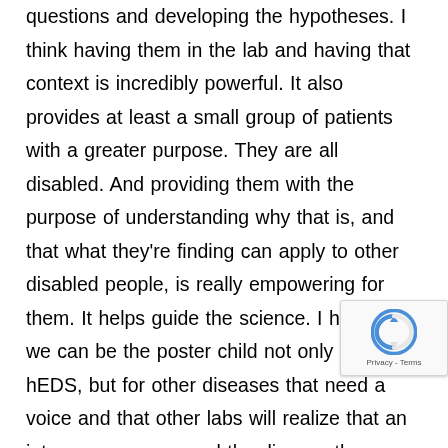questions and developing the hypotheses. I think having them in the lab and having that context is incredibly powerful. It also provides at least a small group of patients with a greater purpose. They are all disabled. And providing them with the purpose of understanding why that is, and that what they're finding can apply to other disabled people, is really empowering for them. It helps guide the science. I hope that we can be the poster child not only for hEDS, but for other diseases that need a voice and that other labs will realize that an intern program around the disease they are studying is really important. And bringing patients into the lab to make patient scientists is an innovative idea that really should be applied to every single academic